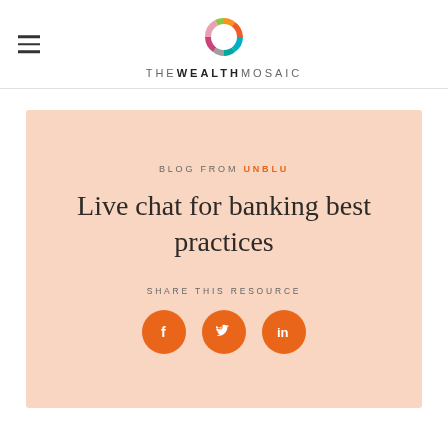THE WEALTH MOSAIC
BLOG FROM UNBLU
Live chat for banking best practices
SHARE THIS RESOURCE